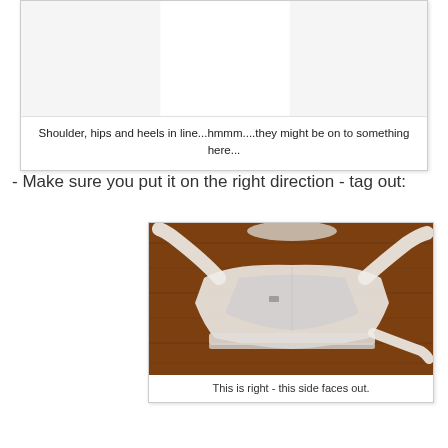[Figure (photo): Upper portion of a figure showing a person standing with shoulders, hips and heels in line - posture demonstration photo (partially visible, mostly white/blank upper area)]
Shoulder, hips and heels in line...hmmm....they might be on to something here...
- Make sure you put it on the right direction - tag out:
[Figure (photo): Photo of a white posture brace/back brace laid flat on a wooden table, showing the inside/back facing up with straps extended outward]
This is right - this side faces out.